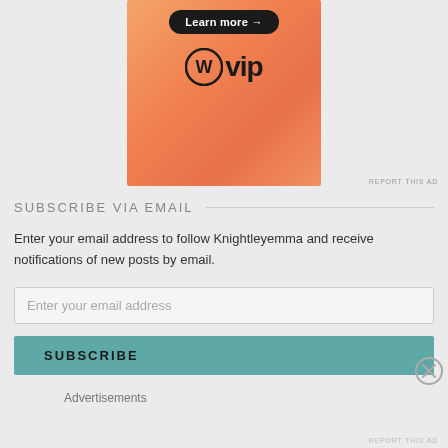[Figure (advertisement): WordPress VIP advertisement banner with orange gradient background, 'Learn more →' button, and WordPress VIP logo]
REPORT THIS AD
SUBSCRIBE VIA EMAIL
Enter your email address to follow Knightleyemma and receive notifications of new posts by email.
Enter your email address
SUBSCRIBE
Advertisements
REPORT THIS AD